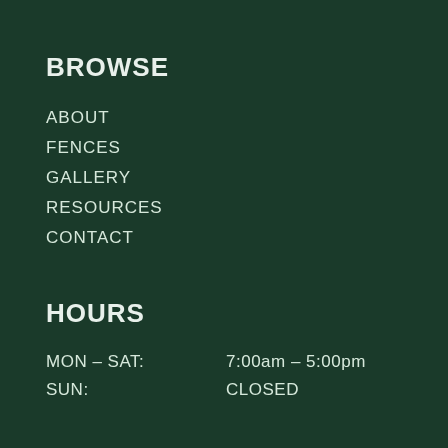BROWSE
ABOUT
FENCES
GALLERY
RESOURCES
CONTACT
HOURS
MON – SAT:    7:00am – 5:00pm
SUN:    CLOSED